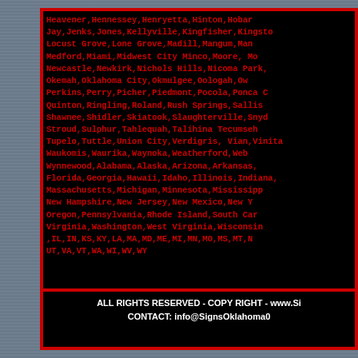Heavener,Hennessey,Henryetta,Hinton,Hobart,Jay,Jenks,Jones,Kellyville,Kingfisher,Kingston,Locust Grove,Lone Grove,Madill,Mangum,Mangum,Medford,Miami,Midwest City Minco,Moore,Moore,Newcastle,Newkirk,Nichols Hills,Nicoma Park,Okemah,Oklahoma City,Okmulgee,Oologah,Owasso,Perkins,Perry,Picher,Piedmont,Pocola,Ponca City,Quinton,Ringling,Roland,Rush Springs,Sallisaw,Shawnee,Shidler,Skiatook,Slaughterville,Snyder,Stroud,Sulphur,Tahlequah,Talihina Tecumseh,Tupelo,Tuttle,Union City,Verdigris, Vian,Vinita,Waukomis,Waurika,Waynoka,Weatherford,Webbers Falls,Wynnewood,Alabama,Alaska,Arizona,Arkansas,Florida,Georgia,Hawaii,Idaho,Illinois,Indiana,Massachusetts,Michigan,Minnesota,Mississippi,New Hampshire,New Jersey,New Mexico,New York,Oregon,Pennsylvania,Rhode Island,South Carolina,Virginia,Washington,West Virginia,Wisconsin,IL,IN,KS,KY,LA,MA,MD,ME,MI,MN,MO,MS,MT,NC,UT,VA,VT,WA,WI,WV,WY
ALL RIGHTS RESERVED - COPY RIGHT - www.SignsOklahoma.com CONTACT: info@SignsOklahoma.com